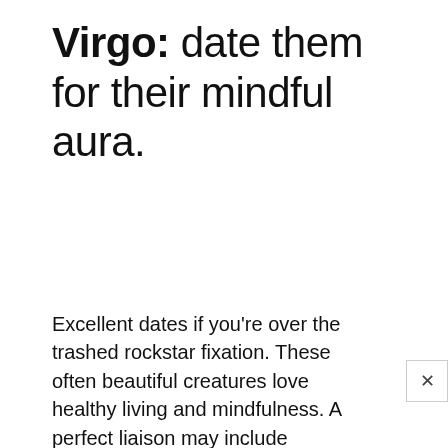Virgo: date them for their mindful aura.
Excellent dates if you're over the trashed rockstar fixation. These often beautiful creatures love healthy living and mindfulness. A perfect liaison may include intense downward dogging followed by a healthy home-cooked meal. You'll notice the